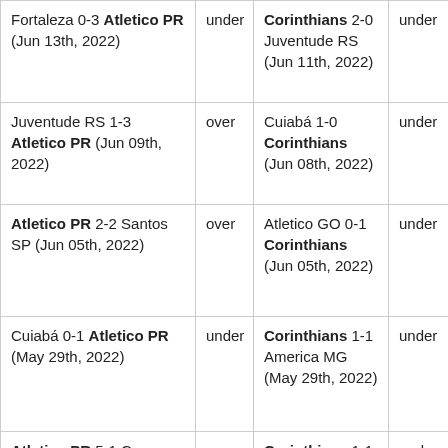| Fortaleza 0-3 Atletico PR (Jun 13th, 2022) | under | Corinthians 2-0 Juventude RS (Jun 11th, 2022) | under |
| Juventude RS 1-3 Atletico PR (Jun 09th, 2022) | over | Cuiabá 1-0 Corinthians (Jun 08th, 2022) | under |
| Atletico PR 2-2 Santos SP (Jun 05th, 2022) | over | Atletico GO 0-1 Corinthians (Jun 05th, 2022) | under |
| Cuiabá 0-1 Atletico PR (May 29th, 2022) | under | Corinthians 1-1 America MG (May 29th, 2022) | under |
| Atletico PR 5-1 Caracas (May 27th, 2022) | over | Corinthians 1-1 Always Ready (May 27th, 2022) | under |